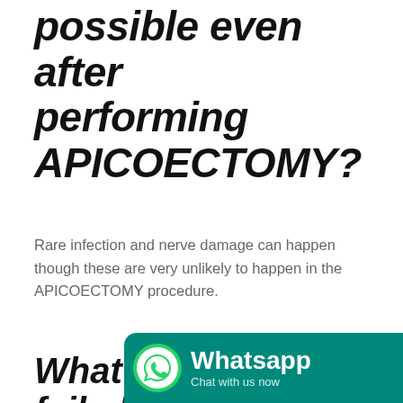possible even after performing APICOECTOMY?
Rare infection and nerve damage can happen though these are very unlikely to happen in the APICOECTOMY procedure.
What will happen in failed apicoectomy?
If after performing the surgery the tooth is not healing properly.
If the reinfection happens even after performing
[Figure (logo): WhatsApp Chat with us now button overlay in teal/green color]